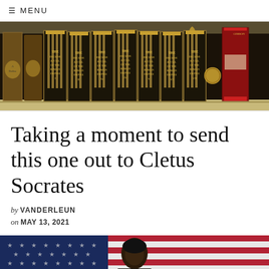≡ MENU
[Figure (photo): A row of antique books on a shelf, showing multiple volumes of 'The Decline & Fall of the Roman Empire' with gold-embossed spines, along with other old books.]
Taking a moment to send this one out to Cletus Socrates
by VANDERLEUN
on MAY 13, 2021
[Figure (photo): A person standing in front of an American flag with stars and red and white stripes visible behind them.]